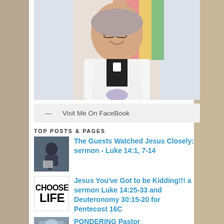[Figure (photo): Profile photo of a woman pastor wearing a white jacket and clerical collar, smiling, with a colorful background]
— Visit Me On FaceBook
TOP POSTS & PAGES
[Figure (photo): Small thumbnail of a person kneeling/reading]
The Guests Watched Jesus Closely: sermon - Luke 14:1, 7-14
[Figure (photo): Choose Life text image, black and white]
Jesus You've Got to be Kidding!!! a sermon Luke 14:25-33 and Deuteronomy 30:15-20 for Pentecost 16C
[Figure (photo): Small religious thumbnail image]
PONDERING Pastor